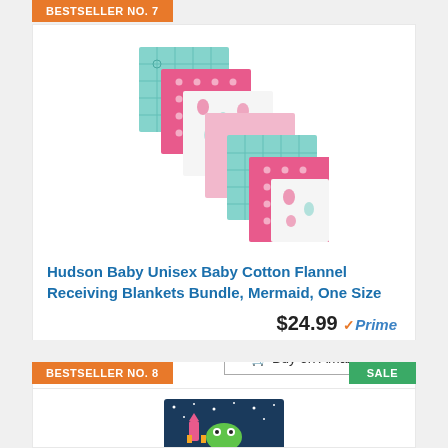BESTSELLER NO. 7
[Figure (photo): Stack of Hudson Baby cotton flannel receiving blankets fanned out diagonally showing mermaid-themed patterns in pink, teal, and white]
Hudson Baby Unisex Baby Cotton Flannel Receiving Blankets Bundle, Mermaid, One Size
$24.99 Prime
Buy on Amazon
BESTSELLER NO. 8
SALE
[Figure (photo): Children's book with space theme showing aliens/creatures in outer space scene with stars]